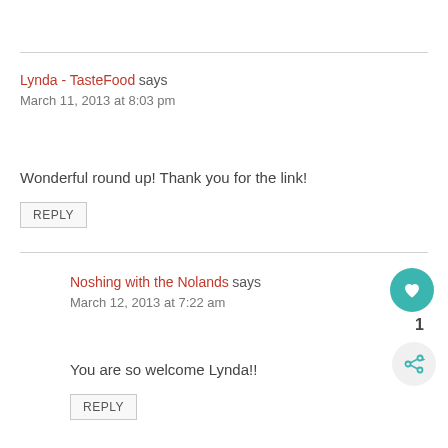Lynda - TasteFood says
March 11, 2013 at 8:03 pm
Wonderful round up! Thank you for the link!
REPLY
Noshing with the Nolands says
March 12, 2013 at 7:22 am
You are so welcome Lynda!!
REPLY